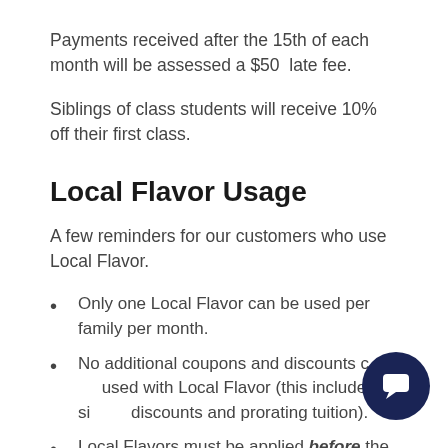Payments received after the 15th of each month will be assessed a $50  late fee.
Siblings of class students will receive 10% off their first class.
Local Flavor Usage
A few reminders for our customers who use Local Flavor.
Only one Local Flavor can be used per family per month.
No additional coupons and discounts can be used with Local Flavor (this includes sibling discounts and prorating tuition).
Local Flavors must be applied before the